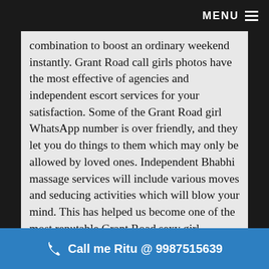MENU ≡
combination to boost an ordinary weekend instantly. Grant Road call girls photos have the most effective of agencies and independent escort services for your satisfaction. Some of the Grant Road girl WhatsApp number is over friendly, and they let you do things to them which may only be allowed by loved ones. Independent Bhabhi massage services will include various moves and seducing activities which will blow your mind. This has helped us become one of the most reputable Grant Road sexy girl agencies. Hiring a Grant Road sexy call girl from this reputed agency isn't difficult. If you wish, the Grant Road hot girl would even be your girl for a few weeks to a month. Find the gorgeous and sexy ladies, call girls of Grant Road here. Mumbai hot girls are glad to introduce our
📞 Call me Ritu @ 9987515639